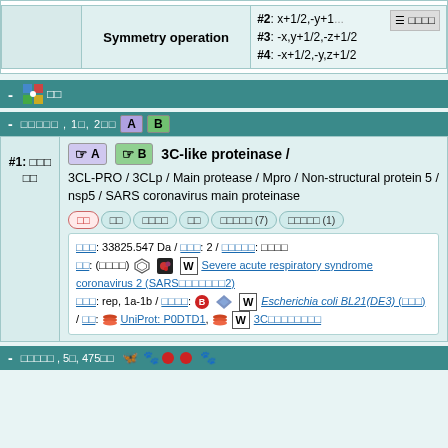|  | Symmetry operation |
| --- | --- |
| #2: x+1/2,-y+1... |  |
| #3: -x,y+1/2,-z+1/2 |  |
| #4: -x+1/2,-y,z+1/2 |  |
🔗 □□
□□□□□, 1□, 2□□ A B
3C-like proteinase / 3CL-PRO / 3CLp / Main protease / Mpro / Non-structural protein 5 / nsp5 / SARS coronavirus main proteinase
#1: □□□□□
□□□: 33825.547 Da / □□□: 2 / □□□□□: □□□□ □□: (□□□□) Severe acute respiratory syndrome coronavirus 2 (SARS□□□□□□□2) □□□: rep, 1a-1b / □□□□: Escherichia coli BL21(DE3) (□□□) / □□: UniProt: P0DTD1, 3C□□□□□□□□
□□□□□, 5□, 475□□